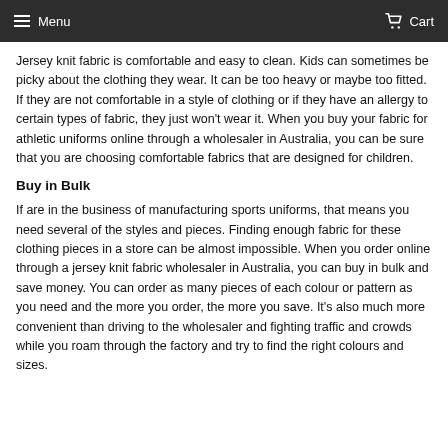Menu   Cart
Jersey knit fabric is comfortable and easy to clean. Kids can sometimes be picky about the clothing they wear. It can be too heavy or maybe too fitted. If they are not comfortable in a style of clothing or if they have an allergy to certain types of fabric, they just won't wear it. When you buy your fabric for athletic uniforms online through a wholesaler in Australia, you can be sure that you are choosing comfortable fabrics that are designed for children.
Buy in Bulk
If are in the business of manufacturing sports uniforms, that means you need several of the styles and pieces. Finding enough fabric for these clothing pieces in a store can be almost impossible. When you order online through a jersey knit fabric wholesaler in Australia, you can buy in bulk and save money. You can order as many pieces of each colour or pattern as you need and the more you order, the more you save. It's also much more convenient than driving to the wholesaler and fighting traffic and crowds while you roam through the factory and try to find the right colours and sizes.